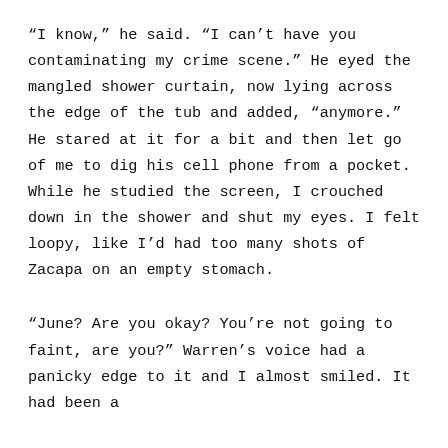“I know,” he said. “I can’t have you contaminating my crime scene.” He eyed the mangled shower curtain, now lying across the edge of the tub and added, “anymore.” He stared at it for a bit and then let go of me to dig his cell phone from a pocket. While he studied the screen, I crouched down in the shower and shut my eyes. I felt loopy, like I’d had too many shots of Zacapa on an empty stomach.
“June? Are you okay? You’re not going to faint, are you?” Warren’s voice had a panicky edge to it and I almost smiled. It had been a